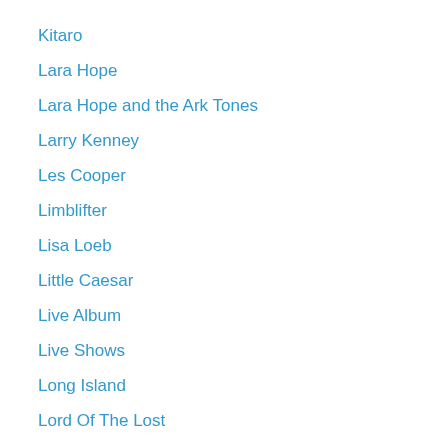Kitaro
Lara Hope
Lara Hope and the Ark Tones
Larry Kenney
Les Cooper
Limblifter
Lisa Loeb
Little Caesar
Live Album
Live Shows
Long Island
Lord Of The Lost
Los Angeles
Lovers & Kings
Luther
Lydia Persaud
Madonna Wayne Gacy
Magnetic Moves
Male Tears
Marilyn Manson